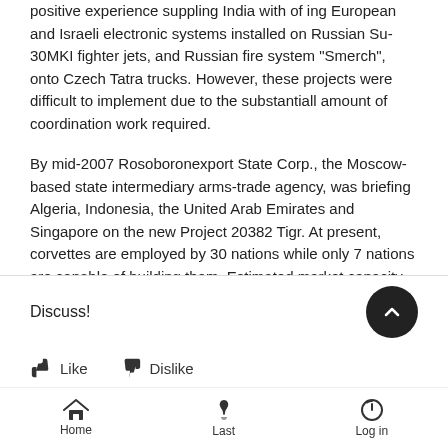positive experience suppling India with of ing European and Israeli electronic systems installed on Russian Su-30MKI fighter jets, and Russian fire system "Smerch", onto Czech Tatra trucks. However, these projects were difficult to implement due to the substantiall amount of coordination work required.
By mid-2007 Rosoboronexport State Corp., the Moscow-based state intermediary arms-trade agency, was briefing Algeria, Indonesia, the United Arab Emirates and Singapore on the new Project 20382 Tigr. At present, corvettes are employed by 30 nations while only 7 nations are capable of building them. Estimated market capacity as concerns such ships for 20 years to come is USD 9.5 billion.
Discuss!
Like   Dislike
Home   Last   Log in